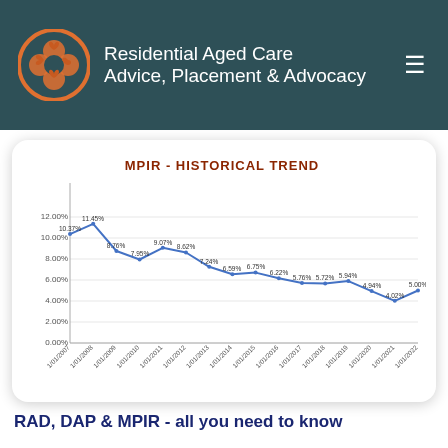Residential Aged Care Advice, Placement & Advocacy
[Figure (line-chart): MPIR - HISTORICAL TREND]
RAD, DAP & MPIR - all you need to know